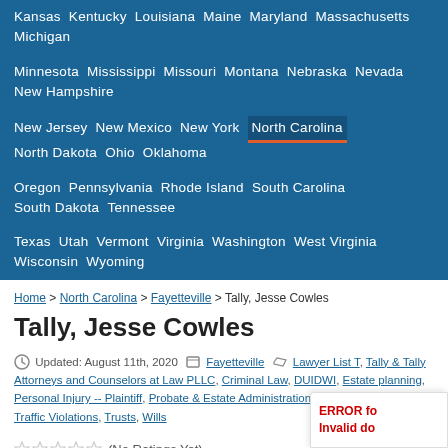Kansas  Kentucky  Louisiana  Maine  Maryland  Massachusetts  Michigan
Minnesota  Mississippi  Missouri  Montana  Nebraska  Nevada  New Hampshire
New Jersey  New Mexico  New York  North Carolina  North Dakota  Ohio  Oklahoma
Oregon  Pennsylvania  Rhode Island  South Carolina  South Dakota  Tennessee
Texas  Utah  Vermont  Virginia  Washington  West Virginia  Wisconsin  Wyoming
Home > North Carolina > Fayetteville > Tally, Jesse Cowles
Tally, Jesse Cowles
Updated: August 11th, 2020  Fayetteville  Lawyer List T, Tally & Tally Attorneys and Counselors at Law PLLC, Criminal Law, DUIDWI, Estate planning, Personal Injury -- Plaintiff, Probate & Estate Administration, Real Estate Law, Traffic Violations, Trusts, Wills
(No Ratings Yet)  4 views